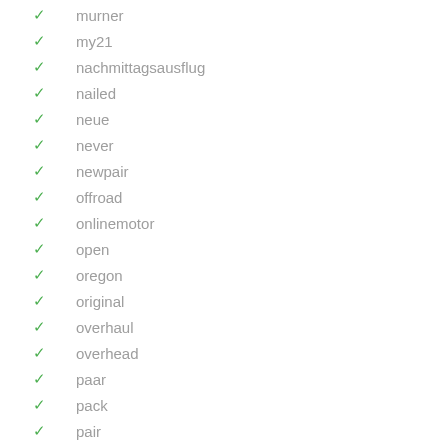murner
my21
nachmittagsausflug
nailed
neue
never
newpair
offroad
onlinemotor
open
oregon
original
overhaul
overhead
paar
pack
pair
party
pos_perste